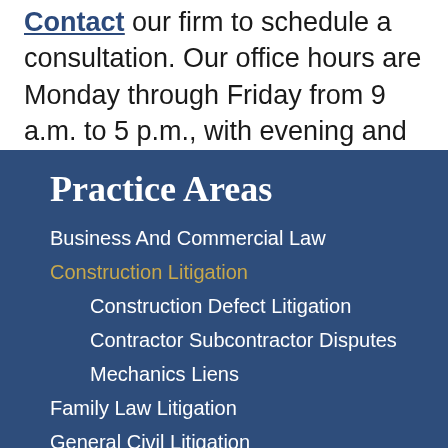Contact our firm to schedule a consultation. Our office hours are Monday through Friday from 9 a.m. to 5 p.m., with evening and weekend appointments available.
Practice Areas
Business And Commercial Law
Construction Litigation
Construction Defect Litigation
Contractor Subcontractor Disputes
Mechanics Liens
Family Law Litigation
General Civil Litigation
Personal Injury Litigation